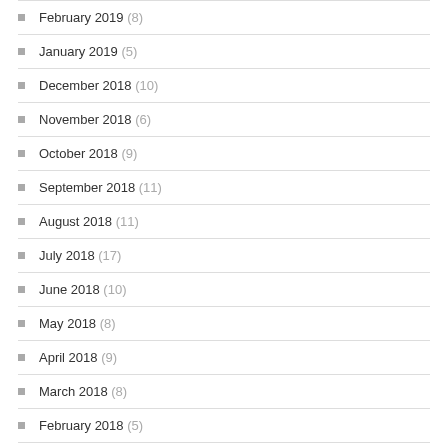February 2019 (8)
January 2019 (5)
December 2018 (10)
November 2018 (6)
October 2018 (9)
September 2018 (11)
August 2018 (11)
July 2018 (17)
June 2018 (10)
May 2018 (8)
April 2018 (9)
March 2018 (8)
February 2018 (5)
January 2018 (7)
December 2017 (11)